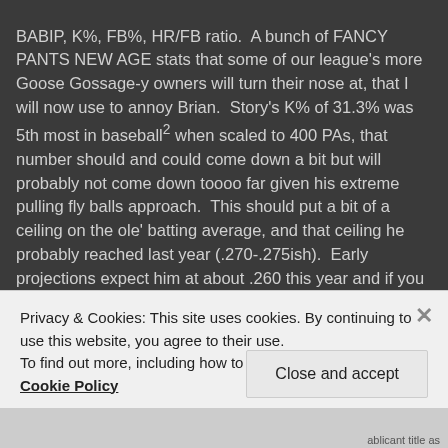BABIP, K%, FB%, HR/FB ratio. A bunch of FANCY PANTS NEW AGE stats that some of our league's more Goose Gossage-y owners will turn their nose at, that I will now use to annoy Brian. Story's K% of 31.3% was 5th most in baseball² when scaled to 400 PAs, that number should and could come down a bit but will probably not come down toooo far given his extreme pulling fly balls approach. This should put a bit of a ceiling on the ole' batting average, and that ceiling he probably reached last year (.270-.275ish). Early projections expect him at about .260 this year and if you ask this troll I would cap him at about .250. Story's BABIP is certainly a bit on the high (read: lucky) side but for a man that hits the ball as hard as he does that can sometimes be understandable. Where it CANNOT be understandable is
Privacy & Cookies: This site uses cookies. By continuing to use this website, you agree to their use.
To find out more, including how to control cookies, see here: Cookie Policy
Close and accept